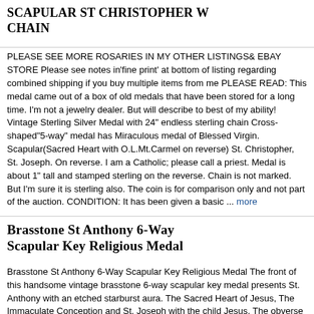SCAPULAR ST CHRISTOPHER W CHAIN
PLEASE SEE MORE ROSARIES IN MY OTHER LISTINGS& EBAY STORE Please see notes in'fine print' at bottom of listing regarding combined shipping if you buy multiple items from me PLEASE READ: This medal came out of a box of old medals that have been stored for a long time. I'm not a jewelry dealer. But will describe to best of my ability! Vintage Sterling Silver Medal with 24" endless sterling chain Cross-shaped"5-way" medal has Miraculous medal of Blessed Virgin. Scapular(Sacred Heart with O.L.Mt.Carmel on reverse) St. Christopher, St. Joseph. On reverse. I am a Catholic; please call a priest. Medal is about 1" tall and stamped sterling on the reverse. Chain is not marked. But I'm sure it is sterling also. The coin is for comparison only and not part of the auction. CONDITION: It has been given a basic ... more
Brasstone St Anthony 6-Way Scapular Key Religious Medal
Brasstone St Anthony 6-Way Scapular Key Religious Medal The front of this handsome vintage brasstone 6-way scapular key medal presents St. Anthony with an etched starburst aura. The Sacred Heart of Jesus, The Immaculate Conception and St. Joseph with the child Jesus. The obverse presents the traveler's motif of St. Christopher, Our Lady of Mount Carmel, The Miraculous Seal and The Holy Infant of Prague. It is a larger piece, with a very nice weight and quality, measuring 3/4 inch wide and 1 7/8 inches long. It is in lovely condition. Thank you for viewing my listings today! I am always happy to answer any questions or offer additional help or information. I offer combined shipping on multiple auction wins. The shipping costs listed are for domestic shipping in the US. Generally. The lowest flat rate international shipping fee is $8 US. ... more